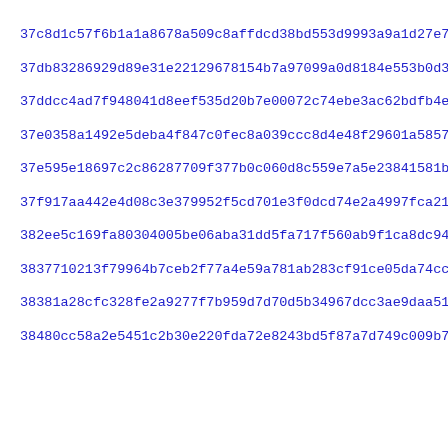37c8d1c57f6b1a1a8678a509c8affdcd38bd553d9993a9a1d27e723456eac
37db83286929d89e31e22129678154b7a97099a0d8184e553b0d3aa650a7a
37ddcc4ad7f948041d8eef535d20b7e00072c74ebe3ac62bdfb4ebeb7359b
37e0358a1492e5deba4f847c0fec8a039ccc8d4e48f29601a5857bbcbaa5c
37e595e18697c2c86287709f377b0c060d8c559e7a5e23841581b5bd49387
37f917aa442e4d08c3e379952f5cd701e3f0dcd74e2a4997fca21c8ac05a8
382ee5c169fa80304005be06aba31dd5fa717f560ab9f1ca8dc94d2decf8a
3837710213f79964b7ceb2f77a4e59a781ab283cf91ce05da74cc81b5aeeb
38381a28cfc328fe2a9277f7b959d7d70d5b34967dcc3ae9daa5189bfb1ae
38480cc58a2e5451c2b30e220fda72e8243bd5f87a7d749c009b747116b98